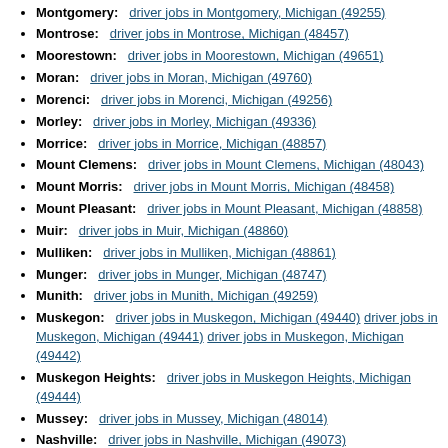Montgomery: driver jobs in Montgomery, Michigan (49255)
Montrose: driver jobs in Montrose, Michigan (48457)
Moorestown: driver jobs in Moorestown, Michigan (49651)
Moran: driver jobs in Moran, Michigan (49760)
Morenci: driver jobs in Morenci, Michigan (49256)
Morley: driver jobs in Morley, Michigan (49336)
Morrice: driver jobs in Morrice, Michigan (48857)
Mount Clemens: driver jobs in Mount Clemens, Michigan (48043)
Mount Morris: driver jobs in Mount Morris, Michigan (48458)
Mount Pleasant: driver jobs in Mount Pleasant, Michigan (48858)
Muir: driver jobs in Muir, Michigan (48860)
Mulliken: driver jobs in Mulliken, Michigan (48861)
Munger: driver jobs in Munger, Michigan (48747)
Munith: driver jobs in Munith, Michigan (49259)
Muskegon: driver jobs in Muskegon, Michigan (49440) driver jobs in Muskegon, Michigan (49441) driver jobs in Muskegon, Michigan (49442)
Muskegon Heights: driver jobs in Muskegon Heights, Michigan (49444)
Mussey: driver jobs in Mussey, Michigan (48014)
Nashville: driver jobs in Nashville, Michigan (49073)
National City: driver jobs in National City, Michigan (48748)
Naubinway: driver jobs in Naubinway, Michigan (49762)
Negaunee: driver jobs in Negaunee, Michigan (49866)
New Boston: driver jobs in New Boston, Michigan (48164)
New Era: driver jobs in New Era, Michigan (49446)
New Hudson: driver jobs in New Hudson, Michigan (48165)